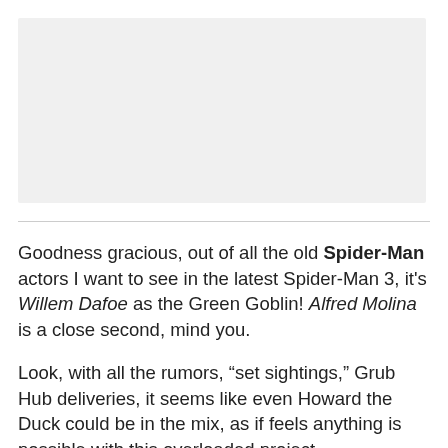[Figure (photo): Image placeholder area at top of article, light gray background]
Goodness gracious, out of all the old Spider-Man actors I want to see in the latest Spider-Man 3, it's Willem Dafoe as the Green Goblin! Alfred Molina is a close second, mind you.
Look, with all the rumors, “set sightings,” Grub Hub deliveries, it seems like even Howard the Duck could be in the mix, as if feels anything is possible with this overloaded project.
GWW reports that the great Dafoe has been